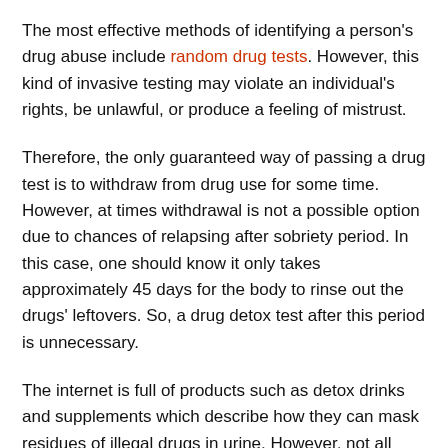The most effective methods of identifying a person's drug abuse include random drug tests. However, this kind of invasive testing may violate an individual's rights, be unlawful, or produce a feeling of mistrust.
Therefore, the only guaranteed way of passing a drug test is to withdraw from drug use for some time. However, at times withdrawal is not a possible option due to chances of relapsing after sobriety period. In this case, one should know it only takes approximately 45 days for the body to rinse out the drugs' leftovers. So, a drug detox test after this period is unnecessary.
The internet is full of products such as detox drinks and supplements which describe how they can mask residues of illegal drugs in urine. However, not all these advertised products prove to work. More research is also essential to determine whether there are valid detox products that can pass a